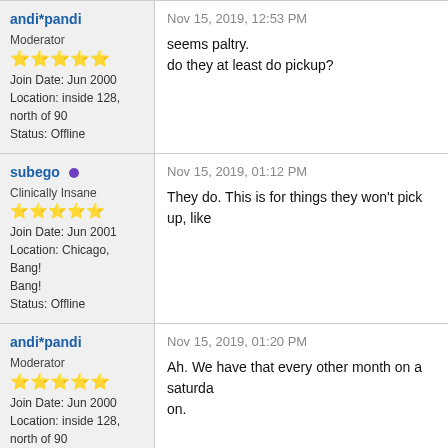andi*pandi | Moderator | ★★★★★ | Join Date: Jun 2000 | Location: inside 128, north of 90 | Status: Offline
Nov 15, 2019, 12:53 PM
seems paltry.
do they at least do pickup?
subego • | Clinically Insane | ☆★★★★ | Join Date: Jun 2001 | Location: Chicago, Bang! Bang! | Status: Offline
Nov 15, 2019, 01:12 PM
They do. This is for things they won't pick up, like
andi*pandi | Moderator | ★★★★★ | Join Date: Jun 2000 | Location: inside 128, north of 90 | Status: Offline
Nov 15, 2019, 01:20 PM
Ah. We have that every other month on a saturda... on.
Laminar | Nov 30, 2019, 09:10 AM